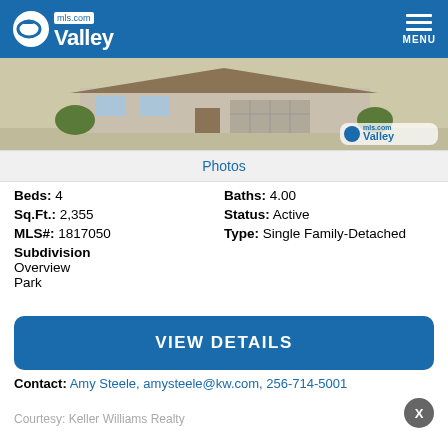ValleyMLS.com MENU
[Figure (photo): Exterior rendering of a single-family home with landscaping, Valley MLS watermark in bottom right]
Photos
Beds: 4 | Baths: 4.00 | Sq.Ft.: 2,355 | Status: Active | MLS#: 1817050 | Type: Single Family-Detached | Subdivision Overview Park
VIEW DETAILS
Contact: Amy Steele, amysteele@kw.com, 256-714-5001
Courtesy: Keller Williams Realty